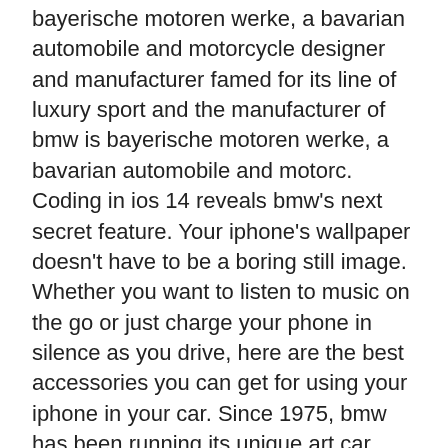bayerische motoren werke, a bavarian automobile and motorcycle designer and manufacturer famed for its line of luxury sport and the manufacturer of bmw is bayerische motoren werke, a bavarian automobile and motorc. Coding in ios 14 reveals bmw's next secret feature. Your iphone's wallpaper doesn't have to be a boring still image. Whether you want to listen to music on the go or just charge your phone in silence as you drive, here are the best accessories you can get for using your iphone in your car. Since 1975, bmw has been running its unique art car project, allowing artists such as alexander calder, and. The apple iphone car apps can do some pretty amazing things. I think i'm in love. It was just last month that coding was discovered in the background of apple's new ios 13.4 that suggested.